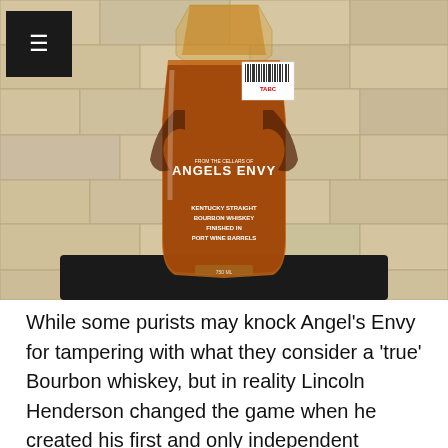[Figure (photo): A bottle of Angel's Envy Kentucky Straight Bourbon Whiskey finished in Port Wine Barrels, photographed against a stone wall background. The bottle has a distinctive coffin/shield shape with a transparent glass body showing the amber whiskey inside, with an angel wings label design. A price tag sticker is visible on the front.]
While some purists may knock Angel's Envy for tampering with what they consider a 'true' Bourbon whiskey, but in reality Lincoln Henderson changed the game when he created his first and only independent